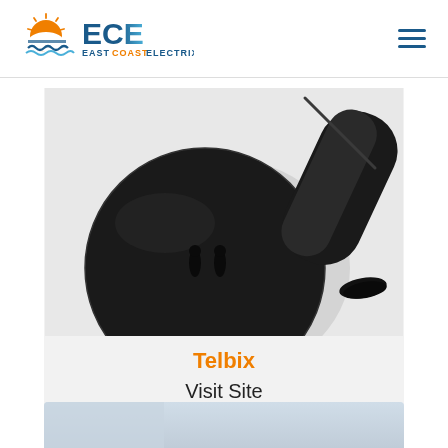[Figure (logo): ECE East Coast Electrix logo with sunrise/waves icon and ECE text in blue/orange gradient]
[Figure (photo): Black circular electrical back plate with two keyhole mounting slots, with a black cylindrical tube/conduit extending to the upper right]
Telbix
Visit Site
[Figure (photo): Partial view of another product card visible at the bottom of the page with a light grey/blue gradient]